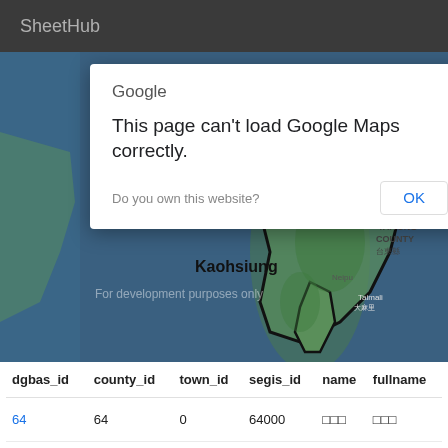SheetHub
[Figure (screenshot): Google Maps error dialog overlaid on a satellite map showing southern Taiwan (Kaohsiung, Tainan City, Taitung County). Dialog reads: 'Google / This page can't load Google Maps correctly. / Do you own this website? [OK]'. Map shows 'For development purposes only' watermark.]
| dgbas_id | county_id | town_id | segis_id | name | fullname |
| --- | --- | --- | --- | --- | --- |
| 64 | 64 | 0 | 64000 | □□□ | □□□ |